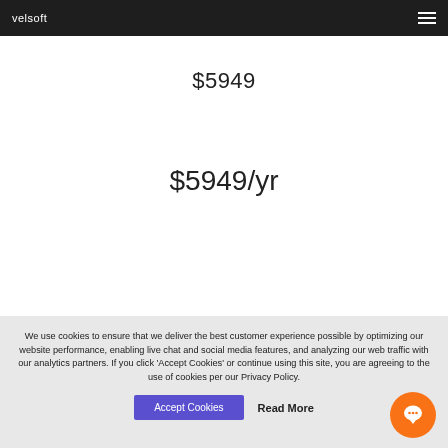velsoft
$5949
$5949/yr
We use cookies to ensure that we deliver the best customer experience possible by optimizing our website performance, enabling live chat and social media features, and analyzing our web traffic with our analytics partners. If you click 'Accept Cookies' or continue using this site, you are agreeing to the use of cookies per our Privacy Policy.
Accept Cookies
Read More